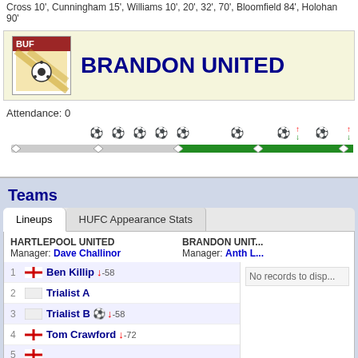Cross 10', Cunningham 15', Williams 10', 20', 32', 70', Bloomfield 84', Holohan 90'
BRANDON UNITED
Attendance: 0
[Figure (infographic): Match timeline showing goal events and substitution icons along a horizontal bar representing match time segments]
Teams
Lineups | HUFC Appearance Stats
HARTLEPOOL UNITED
Manager: Dave Challinor
BRANDON UNIT...
Manager: Anth L...
1  Ben Killip ↓-58
2  Trialist A
3  Trialist B ⚽ ↓-58
4  Tom Crawford ↓-72
5  ...